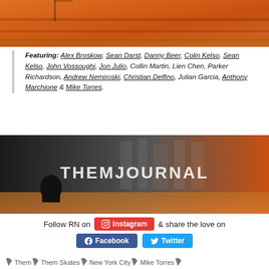[Figure (photo): Partial view of a skateboarding scene with orange tones, showing steps or a skate spot from above.]
Featuring: Alex Broskow, Sean Darst, Danny Beer, Colin Kelso, Sean Kelso, John Vossoughi, Jon Julio, Collin Martin, Lien Chen, Parker Richardson, Andrew Nemiroski, Christian Delfino, Julian Garcia, Anthony Marchione & Mike Torres.
[Figure (photo): A person sitting with a city skyline behind glass, overlaid with large white text reading THEMJOURNAL.]
Follow RN on Instagram & share the love on Facebook Twitter
Them  Them Skates  New York City  Mike Torres